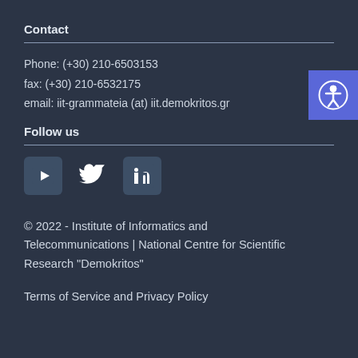Contact
Phone: (+30) 210-6503153
fax: (+30) 210-6532175
email: iit-grammateia (at) iit.demokritos.gr
Follow us
[Figure (illustration): Social media icons: YouTube, Twitter, LinkedIn]
© 2022 - Institute of Informatics and Telecommunications | National Centre for Scientific Research "Demokritos"
Terms of Service and Privacy Policy